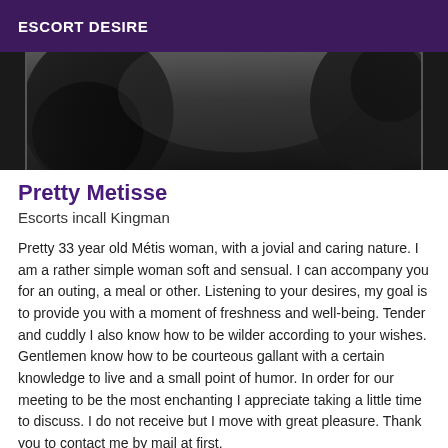ESCORT DESIRE
[Figure (photo): A black and white close-up photograph showing partial view of a person, cropped at the top of the page.]
Pretty Metisse
Escorts incall Kingman
Pretty 33 year old Métis woman, with a jovial and caring nature. I am a rather simple woman soft and sensual. I can accompany you for an outing, a meal or other. Listening to your desires, my goal is to provide you with a moment of freshness and well-being. Tender and cuddly I also know how to be wilder according to your wishes. Gentlemen know how to be courteous gallant with a certain knowledge to live and a small point of humor. In order for our meeting to be the most enchanting I appreciate taking a little time to discuss. I do not receive but I move with great pleasure. Thank you to contact me by mail at first.